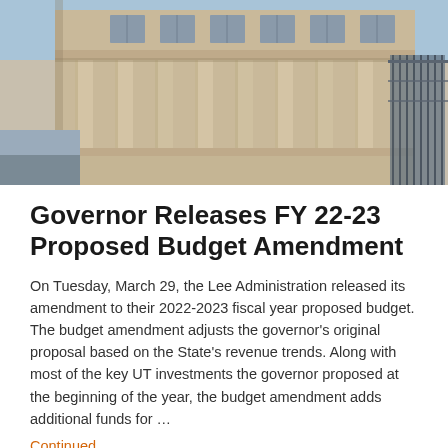[Figure (photo): Photograph of a government capitol building exterior, showing stone columns and upper facade against a blue sky, with metal railing visible on the right side.]
Governor Releases FY 22-23 Proposed Budget Amendment
On Tuesday, March 29, the Lee Administration released its amendment to their 2022-2023 fiscal year proposed budget. The budget amendment adjusts the governor's original proposal based on the State's revenue trends. Along with most of the key UT investments the governor proposed at the beginning of the year, the budget amendment adds additional funds for …
Continued